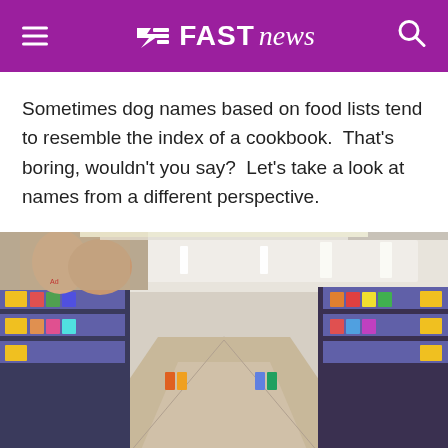Fast News
Sometimes dog names based on food lists tend to resemble the index of a cookbook.  That's boring, wouldn't you say?  Let's take a look at names from a different perspective.
[Figure (photo): Interior of a supermarket aisle with shelves of products on both sides, fluorescent lighting on the ceiling, and promotional signage on the upper shelves. A large advertisement with children's faces is visible on the upper left.]